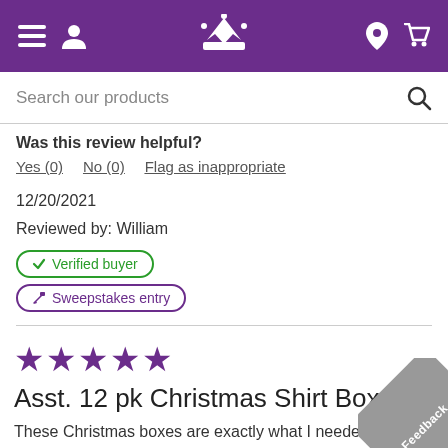Navigation bar with hamburger menu, user icon, crown logo, location pin, and cart icon
Search our products
Was this review helpful?
Yes (0)   No (0)   Flag as inappropriate
12/20/2021
Reviewed by: William
✔ Verified buyer
✎ Sweepstakes entry
★★★★★
Asst. 12 pk Christmas Shirt Boxes
These Christmas boxes are exactly what I needed to wrap gifts.